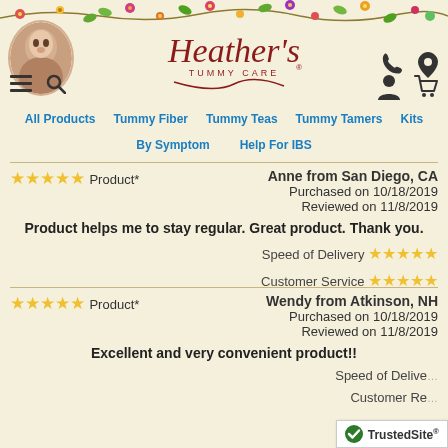[Figure (illustration): Floral decorative border with flowers and leaves at the top of the page]
[Figure (photo): Circular profile photo of a woman in the top left]
[Figure (logo): Heather's Tummy Care logo in cursive red text with decorative swirls]
[Figure (illustration): Navigation icons: hamburger menu, search, phone, location, user, cart]
All Products   Tummy Fiber   Tummy Teas   Tummy Tamers   Kits
By Symptom   Help For IBS
★★★★★ Product*   Anne from San Diego, CA
Purchased on 10/18/2019
Reviewed on 11/8/2019
Product helps me to stay regular. Great product. Thank you.
Speed of Delivery ★★★★★
Customer Service ★★★★★
★★★★★ Product*   Wendy from Atkinson, NH
Purchased on 10/18/2019
Reviewed on 11/8/2019
Excellent and very convenient product!!
Speed of Delive...